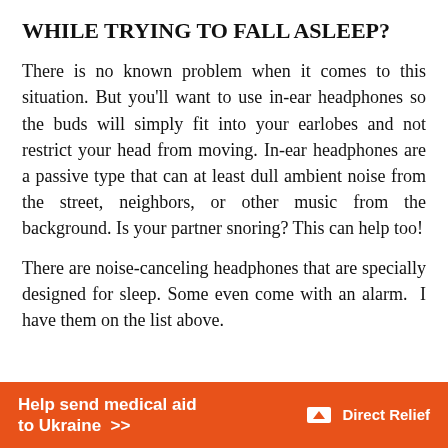WHILE TRYING TO FALL ASLEEP?
There is no known problem when it comes to this situation. But you’ll want to use in-ear headphones so the buds will simply fit into your earlobes and not restrict your head from moving. In-ear headphones are a passive type that can at least dull ambient noise from the street, neighbors, or other music from the background. Is your partner snoring? This can help too!
There are noise-canceling headphones that are specially designed for sleep. Some even come with an alarm.  I have them on the list above.
[Figure (infographic): Orange advertisement banner reading 'Help send medical aid to Ukraine >>' with Direct Relief logo on the right side.]